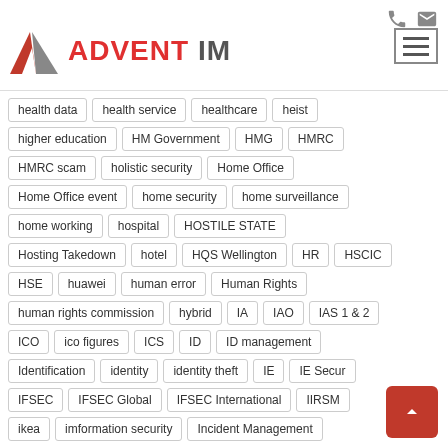ADVENT IM
health data
health service
healthcare
heist
higher education
HM Government
HMG
HMRC
HMRC scam
holistic security
Home Office
Home Office event
home security
home surveillance
home working
hospital
HOSTILE STATE
Hosting Takedown
hotel
HQS Wellington
HR
HSCIC
HSE
huawei
human error
Human Rights
human rights commission
hybrid
IA
IAO
IAS 1 & 2
ICO
ico figures
ICS
ID
ID management
Identification
identity
identity theft
IE
IE Secur
IFSEC
IFSEC Global
IFSEC International
IIRSM
ikea
imformation security
Incident Management